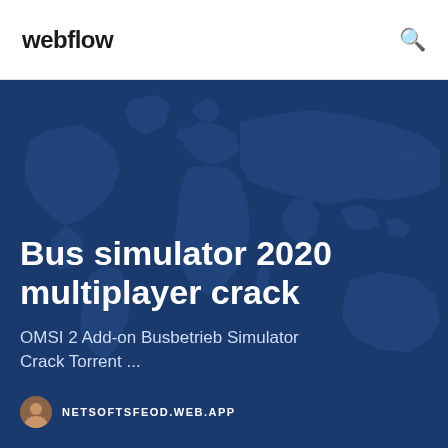webflow
[Figure (illustration): World map silhouette on dark blue background used as hero image backdrop]
Bus simulator 2020 multiplayer crack
OMSI 2 Add-on Busbetrieb Simulator Crack Torrent ...
NETSOFTSFEOD.WEB.APP